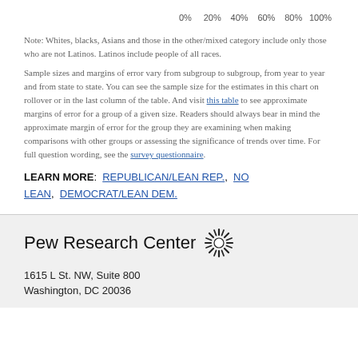[Figure (other): Partial axis labels at top: 0%, 20%, 40%, 60%, 80%, 100%]
Note: Whites, blacks, Asians and those in the other/mixed category include only those who are not Latinos. Latinos include people of all races.
Sample sizes and margins of error vary from subgroup to subgroup, from year to year and from state to state. You can see the sample size for the estimates in this chart on rollover or in the last column of the table. And visit this table to see approximate margins of error for a group of a given size. Readers should always bear in mind the approximate margin of error for the group they are examining when making comparisons with other groups or assessing the significance of trends over time. For full question wording, see the survey questionnaire.
LEARN MORE: REPUBLICAN/LEAN REP., NO LEAN, DEMOCRAT/LEAN DEM.
Pew Research Center
1615 L St. NW, Suite 800
Washington, DC 20036